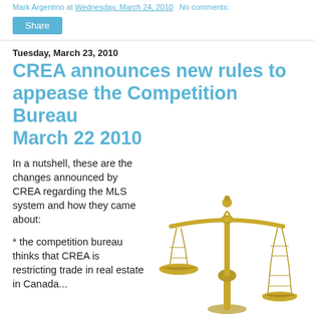Mark Argentino at Wednesday, March 24, 2010   No comments:
Share
Tuesday, March 23, 2010
CREA announces new rules to appease the Competition Bureau March 22 2010
In a nutshell, these are the changes announced by CREA regarding the MLS system and how they came about:
[Figure (illustration): A brass balance scale (scales of justice) with two pans suspended by chains from a central beam, on a decorative upright stand, against a white background.]
* the competition bureau thinks that CREA is restricting trade in real estate in Canada...